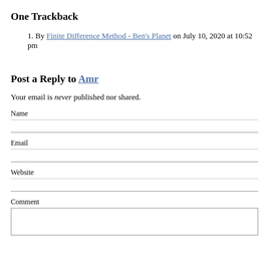One Trackback
1. By Finite Difference Method - Ben's Planet on July 10, 2020 at 10:52 pm
Post a Reply to Amr
Your email is never published nor shared.
Name
Email
Website
Comment